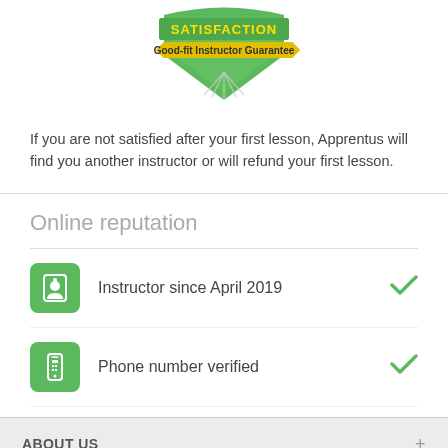[Figure (logo): Green shield badge with 'SATISFACTION' text and yellow ribbon reading 'Good-fit Instructor Guarantee']
If you are not satisfied after your first lesson, Apprentus will find you another instructor or will refund your first lesson.
Online reputation
Instructor since April 2019
Phone number verified
ABOUT US
FOLLOW US
INVITE YOUR FRIENDS